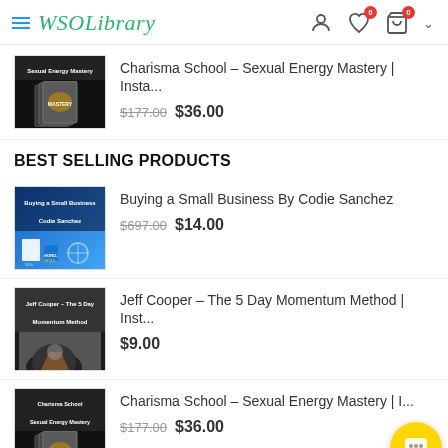WSOLibrary
[Figure (screenshot): Product thumbnail for Charisma School - Sexual Energy Mastery, dark background with book graphic]
Charisma School – Sexual Energy Mastery | Insta... $177.00 $36.00
BEST SELLING PRODUCTS
[Figure (screenshot): Product thumbnail for Buying a Small Business By Codie Sanchez, blue gradient background]
Buying a Small Business By Codie Sanchez $697.00 $14.00
[Figure (screenshot): Product thumbnail for Jeff Cooper - The 5 Day Momentum Method, dark background with bull image]
Jeff Cooper – The 5 Day Momentum Method | Inst... $9.00
[Figure (screenshot): Product thumbnail for Charisma School - Sexual Energy Mastery, dark background with book graphic]
Charisma School – Sexual Energy Mastery | I... $177.00 $36.00